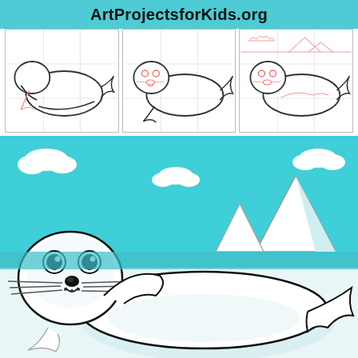ArtProjectsforKids.org
[Figure (illustration): Three step-by-step tutorial panels showing how to draw a harp seal. Step 1 shows basic body outline with pink guide lines. Step 2 shows the seal with facial details added in pink. Step 3 shows the completed seal outline with arctic background elements in pink.]
[Figure (illustration): Completed colored drawing of a cute baby harp seal lying on ice with an arctic background featuring teal/turquoise sky, white icebergs/mountains, clouds, and a teal sea. The seal is white with large black eyes, whiskers, and flippers, drawn in a cartoon style.]